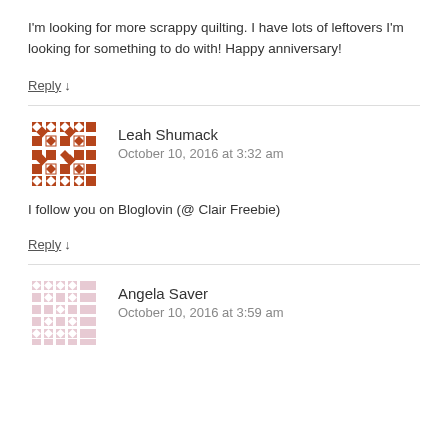I'm looking for more scrappy quilting. I have lots of leftovers I'm looking for something to do with! Happy anniversary!
Reply ↓
Leah Shumack
October 10, 2016 at 3:32 am
I follow you on Bloglovin (@ Clair Freebie)
Reply ↓
Angela Saver
October 10, 2016 at 3:59 am